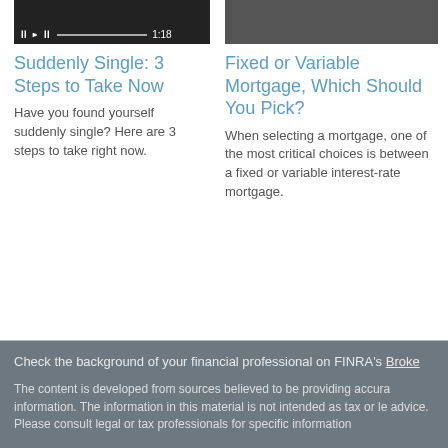[Figure (screenshot): Video thumbnail with dark background showing playback controls (pause, play, seek bar) and timestamp 1:18]
Suddenly Single: 3 Steps to Take Now
Have you found yourself suddenly single? Here are 3 steps to take right now.
[Figure (screenshot): Video thumbnail with dark/brownish background, cropped image visible]
Fixed or Variable Mortgage, Which Should You Pick?
When selecting a mortgage, one of the most critical choices is between a fixed or variable interest-rate mortgage.
Check the background of your financial professional on FINRA's Broke
The content is developed from sources believed to be providing accura information. The information in this material is not intended as tax or le advice. Please consult legal or tax professionals for specific information